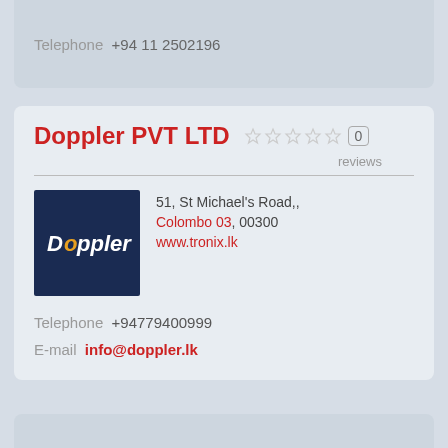Telephone  +94 11 2502196
Doppler PVT LTD
0 reviews
[Figure (logo): Doppler company logo: dark navy background with italic white and orange text reading 'Doppler']
51, St Michael's Road,,
Colombo 03, 00300
www.tronix.lk
Telephone  +94779400999
E-mail  info@doppler.lk